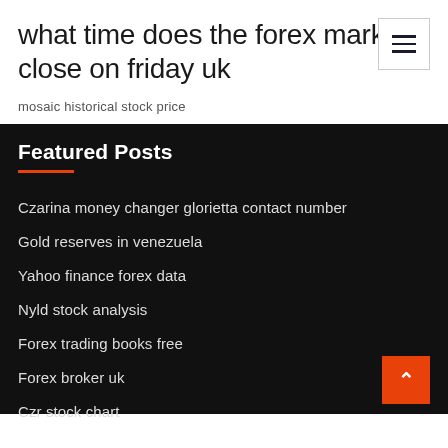what time does the forex market close on friday uk
mosaic historical stock price
Featured Posts
Czarina money changer glorietta contact number
Gold reserves in venezuela
Yahoo finance forex data
Nyld stock analysis
Forex trading books free
Forex broker uk
Czr stock chart